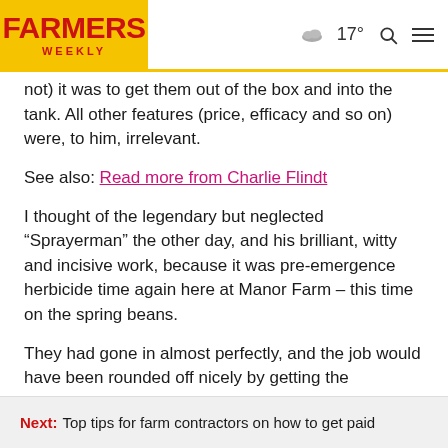FARMERS WEEKLY | 17° [weather] [search] [menu]
not) it was to get them out of the box and into the tank. All other features (price, efficacy and so on) were, to him, irrelevant.
See also: Read more from Charlie Flindt
I thought of the legendary but neglected “Sprayerman” the other day, and his brilliant, witty and incisive work, because it was pre-emergence herbicide time again here at Manor Farm – this time on the spring beans.
They had gone in almost perfectly, and the job would have been rounded off nicely by getting the weedkiller on early,
Next: Top tips for farm contractors on how to get paid